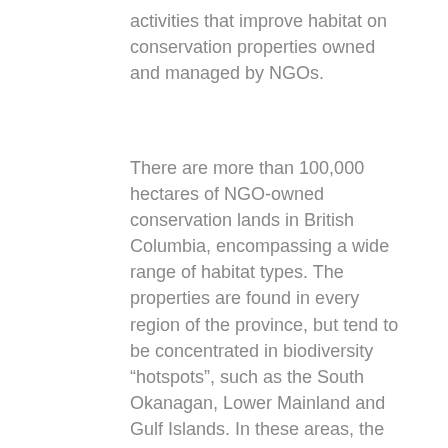activities that improve habitat on conservation properties owned and managed by NGOs.
There are more than 100,000 hectares of NGO-owned conservation lands in British Columbia, encompassing a wide range of habitat types. The properties are found in every region of the province, but tend to be concentrated in biodiversity “hotspots”, such as the South Okanagan, Lower Mainland and Gulf Islands. In these areas, the purchase of private land has become an important – but expensive –tool for protecting key habitats from human development.